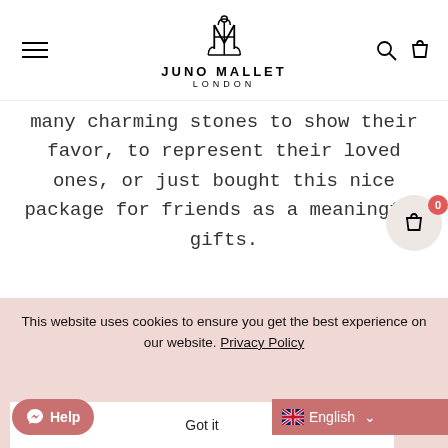JUNO MALLET LONDON — navigation bar with hamburger menu, logo, search and bag icons
many charming stones to show their favor, to represent their loved ones, or just bought this nice package for friends as a meaningful gifts.
TAKE A VIEW
This website uses cookies to ensure you get the best experience on our website. Privacy Policy
Got it
Help
English